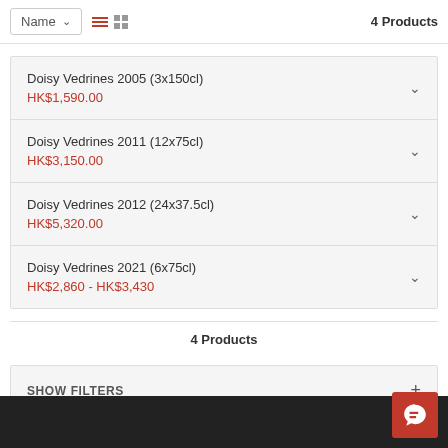Name  4 Products
Doisy Vedrines 2005 (3x150cl)
HK$1,590.00
Doisy Vedrines 2011 (12x75cl)
HK$3,150.00
Doisy Vedrines 2012 (24x37.5cl)
HK$5,320.00
Doisy Vedrines 2021 (6x75cl)
HK$2,860 - HK$3,430
4 Products
SHOW FILTERS